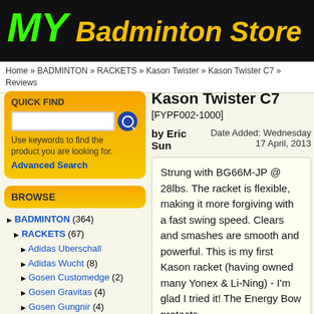[Figure (logo): MY Badminton Store logo on black background, with 'MY' in green italic and 'Badminton Store' in yellow italic script]
Home » BADMINTON » RACKETS » Kason Twister » Kason Twister C7 » Reviews
QUICK FIND
Use keywords to find the product you are looking for.
Advanced Search
BROWSE
▶ BADMINTON (364)
▶ RACKETS (67)
▶ Adidas Uberschall
▶ Adidas Wucht (8)
▶ Gosen Customedge (2)
▶ Gosen Gravitas (4)
▶ Gosen Gungnir (4)
▶ Gosen Inferno (1)
▶ Junior Rackets (4)
▶ Kason Twister (1)
Kason Twister C7
[FYPF002-1000]
by Eric Sun
Date Added: Wednesday 17 April, 2013
Strung with BG66M-JP @ 28lbs. The racket is flexible, making it more forgiving with a fast swing speed. Clears and smashes are smooth and powerful. This is my first Kason racket (having owned many Yonex & Li-Ning) - I'm glad I tried it! The Energy Bow protects